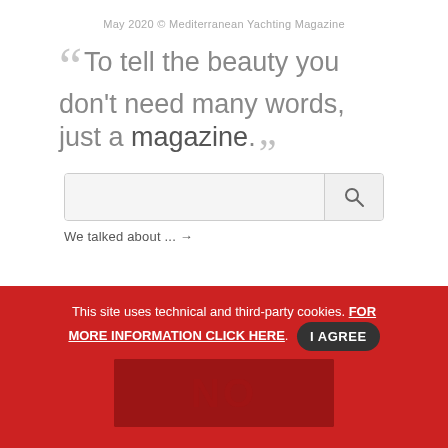May 2020 © Mediterranean Yachting Magazine
“To tell the beauty you don't need many words, just a magazine.”
[Figure (other): Search box with magnifying glass icon]
We talked about ... →
This site uses technical and third-party cookies. FOR MORE INFORMATION CLICK HERE. I AGREE
[Figure (photo): Red background with yacht/magazine image partially visible]